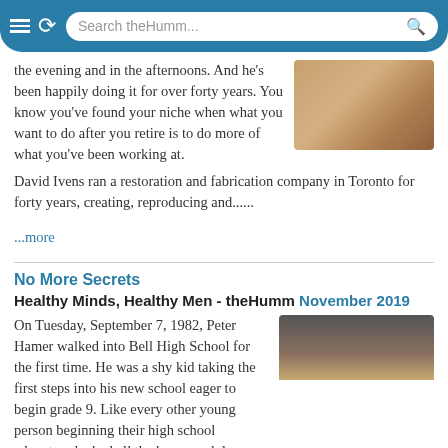Search theHumm...
the evening and in the afternoons. And he's been happily doing it for over forty years. You know you've found your niche when what you want to do after you retire is to do more of what you've been working at.
[Figure (photo): Photo of bronze/metallic bowls or urns on a light background]
David Ivens ran a restoration and fabrication company in Toronto for forty years, creating, reproducing and......
...more
No More Secrets
Healthy Minds, Healthy Men - theHumm November 2019
On Tuesday, September 7, 1982, Peter Hamer walked into Bell High School for the first time. He was a shy kid taking the first steps into his new school eager to begin grade 9. Like every other young person beginning their high school adventure he had all the hopes and dreams for a future filled with opportunity and excitement. The next four
[Figure (photo): Cropped photo of a person, partially visible at top right]